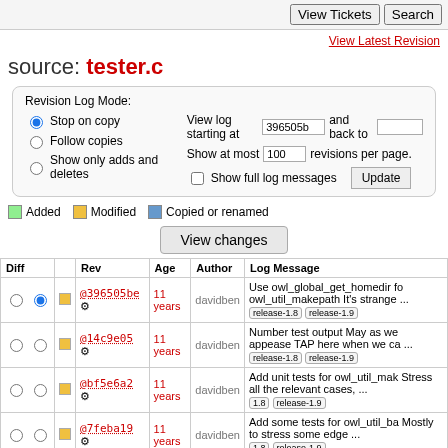View Tickets | Search
View Latest Revision
source: tester.c
Revision Log Mode: Stop on copy (selected), Follow copies, Show only adds and deletes. View log starting at 396505b and back to. Show at most 100 revisions per page. Show full log messages. Update button.
Added  Modified  Copied or renamed
View changes
| Diff |  | Rev | Age | Author | Log Message |
| --- | --- | --- | --- | --- | --- |
| ○ ● | □ | @396505be ⚙ | 11 years | davidben | Use owl_global_get_homedir fo owl_util_makepath It's strange ... release-1.8 release-1.9 |
| ○ ○ | □ | @14c9e05 ⚙ | 11 years | davidben | Number test output May as we appease TAP here when we ca ... release-1.8 release-1.9 |
| ○ ○ | □ | @bf5e6a2 ⚙ | 11 years | davidben | Add unit tests for owl_util_mak Stress all the relevant cases, ... 1.8 release-1.9 |
| ○ ○ | □ | @7feba19 ⚙ | 11 years | davidben | Add some tests for owl_util_ba Mostly to stress some edge ... 1.8 release-1.9 |
| ○ ○ | □ | @b4a678a ⚙ | 11 years | jgross | Added tests to tester.c to make NULL values are gotten ... rele 1.8 release-1.9 |